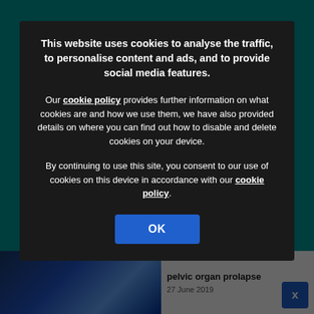[Figure (screenshot): Website background showing teal navigation header with logo and icons]
This website uses cookies to analyse the traffic, to personalise content and ads, and to provide social media features.
Our cookie policy provides further information on what cookies are and how we use them, we have also provided details on where you can find out how to disable and delete cookies on your device.
By continuing to use this site, you consent to our use of cookies on this device in accordance with our cookie policy.
OK
pelvic organ prolapse
27 June 2019